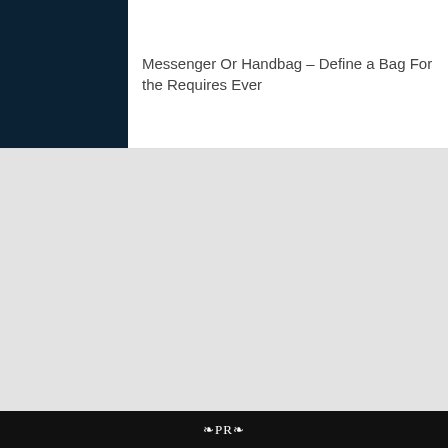[Figure (photo): Dark navy/teal colored image placeholder in top-left header area]
Messenger Or Handbag – Define a Bag For the Requires Ever
[Figure (other): Large light gray placeholder area below the header divider]
❧PR❧